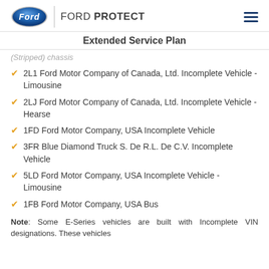Ford | FORD PROTECT
Extended Service Plan
(Stripped) chassis
2L1 Ford Motor Company of Canada, Ltd. Incomplete Vehicle - Limousine
2LJ Ford Motor Company of Canada, Ltd. Incomplete Vehicle - Hearse
1FD Ford Motor Company, USA Incomplete Vehicle
3FR Blue Diamond Truck S. De R.L. De C.V. Incomplete Vehicle
5LD Ford Motor Company, USA Incomplete Vehicle - Limousine
1FB Ford Motor Company, USA Bus
Note: Some E-Series vehicles are built with Incomplete VIN designations. These vehicles